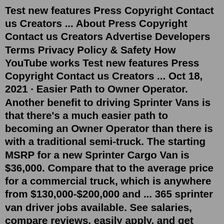Test new features Press Copyright Contact us Creators ... About Press Copyright Contact us Creators Advertise Developers Terms Privacy Policy & Safety How YouTube works Test new features Press Copyright Contact us Creators ... Oct 18, 2021 · Easier Path to Owner Operator. Another benefit to driving Sprinter Vans is that there's a much easier path to becoming an Owner Operator than there is with a traditional semi-truck. The starting MSRP for a new Sprinter Cargo Van is $36,000. Compare that to the average price for a commercial truck, which is anywhere from $130,000-$200,000 and ... 365 sprinter van driver jobs available. See salaries, compare reviews, easily apply, and get hired. New sprinter van driver careers are added daily on SimplyHired.com. The low-stress way to find your next sprinter van driver job opportunity is on SimplyHired. There are over 365 sprinter van driver careers waiting for you to apply! Drivers certified for 8-passenger sprinter vans (Athletics only), and those previously certified to drive 12/15...